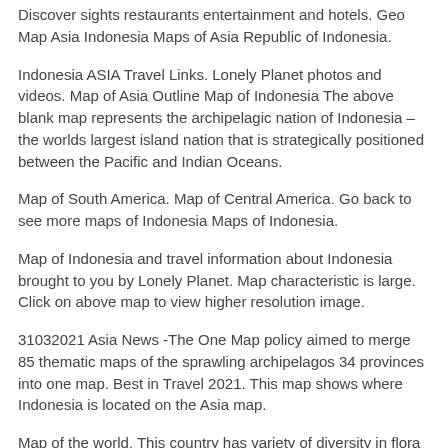Discover sights restaurants entertainment and hotels. Geo Map Asia Indonesia Maps of Asia Republic of Indonesia.
Indonesia ASIA Travel Links. Lonely Planet photos and videos. Map of Asia Outline Map of Indonesia The above blank map represents the archipelagic nation of Indonesia – the worlds largest island nation that is strategically positioned between the Pacific and Indian Oceans.
Map of South America. Map of Central America. Go back to see more maps of Indonesia Maps of Indonesia.
Map of Indonesia and travel information about Indonesia brought to you by Lonely Planet. Map characteristic is large. Click on above map to view higher resolution image.
31032021 Asia News -The One Map policy aimed to merge 85 thematic maps of the sprawling archipelagos 34 provinces into one map. Best in Travel 2021. This map shows where Indonesia is located on the Asia map.
Map of the world. This country has variety of diversity in flora fauna cultures and the other aspects because of the location that lies between the Indian. Indonesia is situated between the Pacific and Indian oceans and it is the worlds largest.